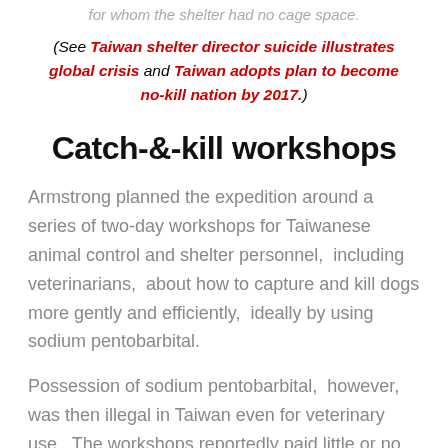for whom the shelter had no cage space.
(See Taiwan shelter director suicide illustrates global crisis and Taiwan adopts plan to become no-kill nation by 2017.)
Catch-&-kill workshops
Armstrong planned the expedition around a series of two-day workshops for Taiwanese animal control and shelter personnel,  including veterinarians,  about how to capture and kill dogs more gently and efficiently,  ideally by using sodium pentobarbital.
Possession of sodium pentobarbital,  however,  was then illegal in Taiwan even for veterinary use.  The workshops reportedly paid little or no